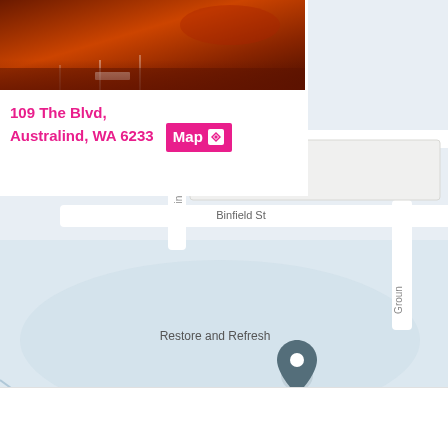[Figure (map): Google Maps screenshot showing street map of Australind, WA area with location pin at Restore and Refresh. Streets visible include Binfield St, Groun (Groundwater?), irway, Bvd, Lapis La, Jupiter Dr, in Ave, h Way. Another pin for 'et Medical Servicing...' visible top right. 'Tree' label visible top right corner.]
[Figure (photo): Thumbnail photo showing what appears to be a parking lot or outdoor area with reddish/orange tones]
109 The Blvd, Australind, WA 6233
Map